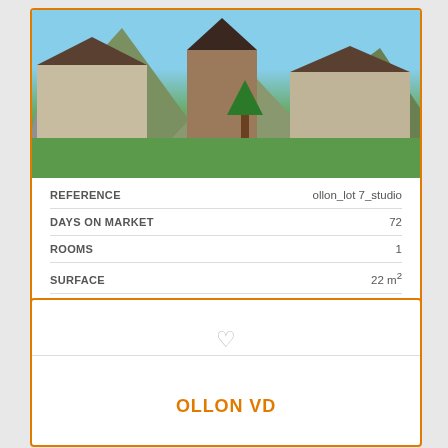[Figure (photo): Architectural rendering of a residential development with multiple buildings, green lawn, mountain backdrop and blue sky in Ollon VD, Switzerland]
| Field | Value |
| --- | --- |
| REFERENCE | ollon_lot 7_studio |
| DAYS ON MARKET | 72 |
| ROOMS | 1 |
| SURFACE | 22 m² |
| YEAR OF CONSTRUCTION | 2023 |
OLLON VD